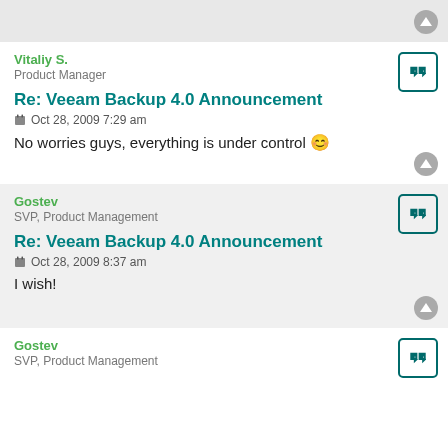[partial top block - gray background with up arrow]
Vitaliy S.
Product Manager
Re: Veeam Backup 4.0 Announcement
Oct 28, 2009 7:29 am
No worries guys, everything is under control 😊
Gostev
SVP, Product Management
Re: Veeam Backup 4.0 Announcement
Oct 28, 2009 8:37 am
I wish!
Gostev
SVP, Product Management